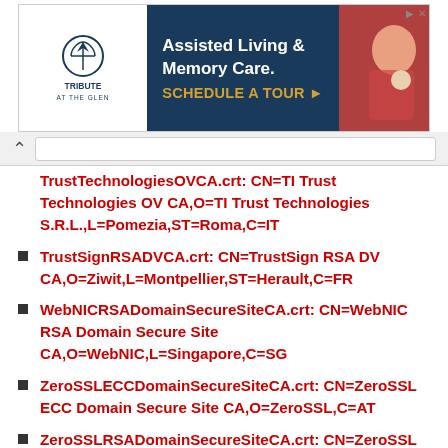[Figure (other): Advertisement banner for Tribute at The Glen - Assisted Living & Memory Care with Schedule A Tour call-to-action]
TrustTechnologiesOVCA.crt: CN=TI Trust Technologies OV CA,O=TI Trust Technologies S.R.L.,L=Pomezia,ST=Roma,C=IT
TrustSignRSADVCA.crt: CN=TrustSign RSA DV CA,O=Ziwit,L=Montpellier,ST=Herault,C=FR
WebNICRSADomainSecureSiteCA.crt: CN=WebNIC RSA Domain Secure Site CA,O=WebNIC,L=Singapore,C=SG
ZeroSSLECCDomainSecureSiteCA.crt: CN=ZeroSSL ECC Domain Secure Site CA,O=ZeroSSL,C=AT
ZeroSSLRSADomainSecureSiteCA.crt: CN=ZeroSSL RSA Domain Secure Site CA,O=ZeroSSL,C=AT